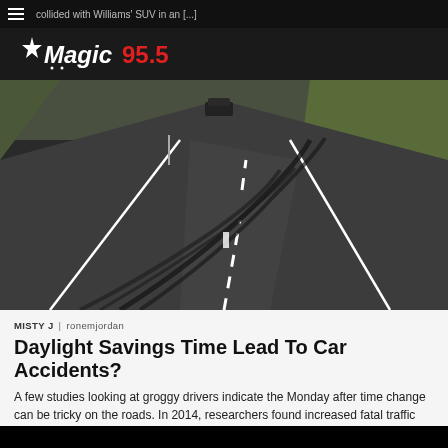collided with Williams' SUV in an [...]
[Figure (logo): Magic 95.5 radio station logo — white stylized text with red '95.5' and a star]
[Figure (photo): Road with black tire skid marks curving across asphalt, car visible in upper distance, green grass on right roadside]
MISTY J | ronemjordan
Daylight Savings Time Lead To Car Accidents?
A few studies looking at groggy drivers indicate the Monday after time change can be tricky on the roads. In 2014, researchers found increased fatal traffic crash risks increased the day after daylight saving time. The study determined it was a lack of sleep that